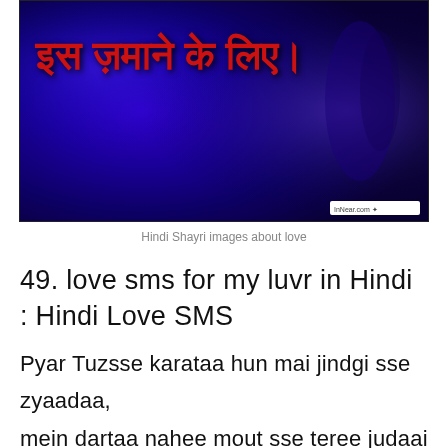[Figure (photo): Blue background image with Hindi Devanagari text in red reading 'इस ज़माने के लिए।' with a watermark 'InNear.com' at bottom right]
Hindi Shayri images about love
49. love sms for my luvr in Hindi : Hindi Love SMS
Pyar Tuzsse karataa hun mai jindgi sse zyaadaa,
mein dartaa nahee mout sse teree judaai se zyaadaa,